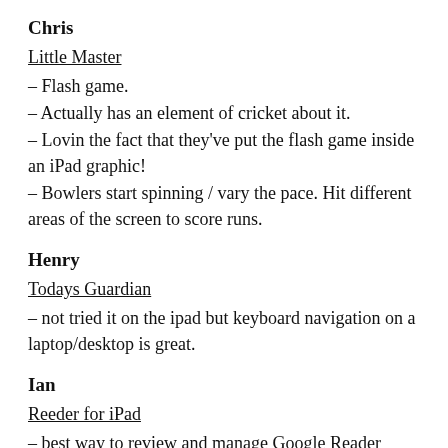Chris
Little Master
– Flash game.
– Actually has an element of cricket about it.
– Lovin the fact that they've put the flash game inside an iPad graphic!
– Bowlers start spinning / vary the pace. Hit different areas of the screen to score runs.
Henry
Todays Guardian
– not tried it on the ipad but keyboard navigation on a laptop/desktop is great.
Ian
Reeder for iPad
– best way to review and manage Google Reader content on the iPad